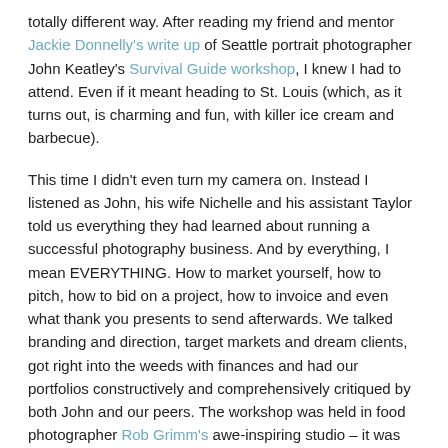totally different way. After reading my friend and mentor Jackie Donnelly's write up of Seattle portrait photographer John Keatley's Survival Guide workshop, I knew I had to attend. Even if it meant heading to St. Louis (which, as it turns out, is charming and fun, with killer ice cream and barbecue).

This time I didn't even turn my camera on. Instead I listened as John, his wife Nichelle and his assistant Taylor told us everything they had learned about running a successful photography business. And by everything, I mean EVERYTHING. How to market yourself, how to pitch, how to bid on a project, how to invoice and even what thank you presents to send afterwards. We talked branding and direction, target markets and dream clients, got right into the weeds with finances and had our portfolios constructively and comprehensively critiqued by both John and our peers. The workshop was held in food photographer Rob Grimm's awe-inspiring studio – it was worth the price of admission alone just to spend time in that space – and the creative energy sparked and fizzed all weekend.